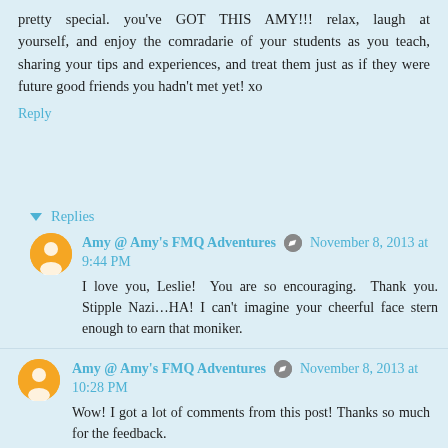pretty special. you've GOT THIS AMY!!! relax, laugh at yourself, and enjoy the comradarie of your students as you teach, sharing your tips and experiences, and treat them just as if they were future good friends you hadn't met yet! xo
Reply
Replies
Amy @ Amy's FMQ Adventures  November 8, 2013 at 9:44 PM
I love you, Leslie! You are so encouraging. Thank you. Stipple Nazi…HA! I can't imagine your cheerful face stern enough to earn that moniker.
Reply
Amy @ Amy's FMQ Adventures  November 8, 2013 at 10:28 PM
Wow! I got a lot of comments from this post! Thanks so much for the feedback.